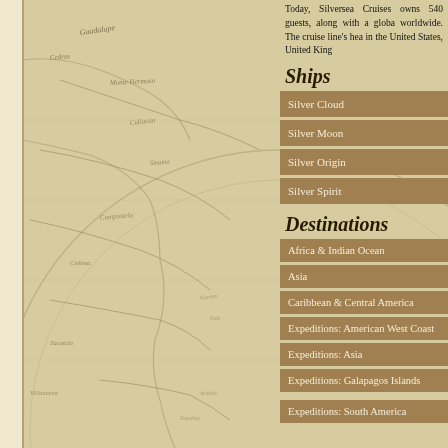[Figure (map): Vintage antique-style nautical/geographic map showing coastlines, place names in old script, with compass rose circle overlay, sepia and cream tones. Shows regions including Indian Ocean area, Gulf of California, various geographic labels in cursive.]
Today, Silversea Cruises owns 540 guests, along with a global worldwide. The cruise line's hea in the United States, United King
Ships
Silver Cloud
Silver Moon
Silver Origin
Silver Spirit
Destinations
Africa & Indian Ocean
Asia
Caribbean & Central America
Expeditions: American West Coast
Expeditions: Asia
Expeditions: Galapagos Islands
Expeditions: South America